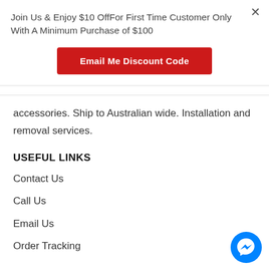Join Us & Enjoy $10 OffFor First Time Customer Only With A Minimum Purchase of $100
[Figure (other): Red button labeled 'Email Me Discount Code']
accessories. Ship to Australian wide. Installation and removal services.
USEFUL LINKS
Contact Us
Call Us
Email Us
Order Tracking
[Figure (other): Facebook Messenger chat bubble icon (blue circle with white lightning bolt/messenger logo)]